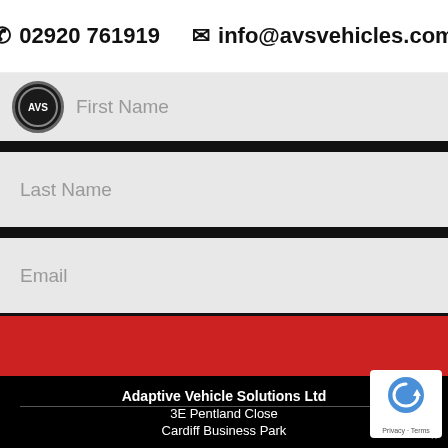02920 761919   info@avsvehicles.com
First Name
Last Name
Email
[Figure (logo): AVS circular logo badge, dark background with AVS text]
Adaptive Vehicle Solutions Ltd
3E Pentland Close
Cardiff Business Park